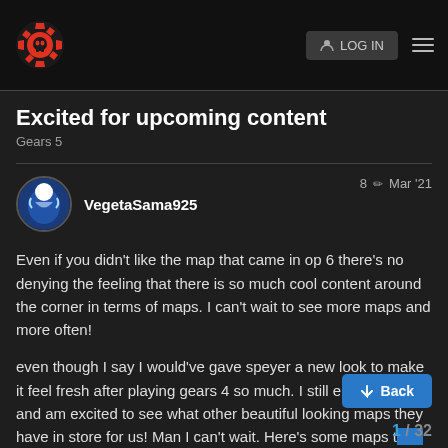Gears 5 forum header with logo and login button
Excited for upcoming content
Gears 5
VegetaSama925   8   Mar '21
Even if you didn't like the map that came in op 6 there's no denying the feeling that there is so much cool content around the corner in terms of maps. I can't wait to see more maps and more often!
even though I say I would've gave speyer a new look to make it feel fresh after playing gears 4 so much. I still enjoy speyer and am excited to see what other beautiful looking maps they have in store for us! Man I can't wait. Here's some maps t... sist hoping for. please tc bring some of these back an... get brand new maps also either would be a treat but I really miss some of these classics.